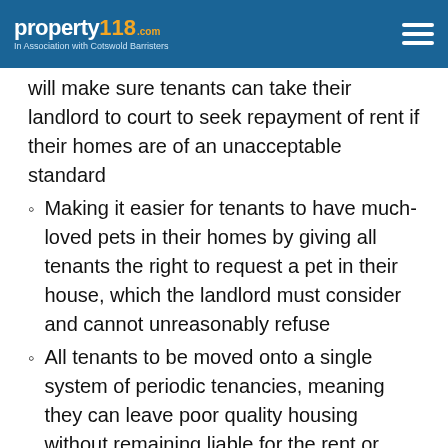property118.com – In Association with Cotswold Barristers
will make sure tenants can take their landlord to court to seek repayment of rent if their homes are of an unacceptable standard
Making it easier for tenants to have much-loved pets in their homes by giving all tenants the right to request a pet in their house, which the landlord must consider and cannot unreasonably refuse
All tenants to be moved onto a single system of periodic tenancies, meaning they can leave poor quality housing without remaining liable for the rent or move more easily when their circumstances change. A tenancy will only end if a tenant ends or a landlord has a valid reason, defined in law
Doubling notice periods for rent increases and giving tenants stronger powers to challenge them if